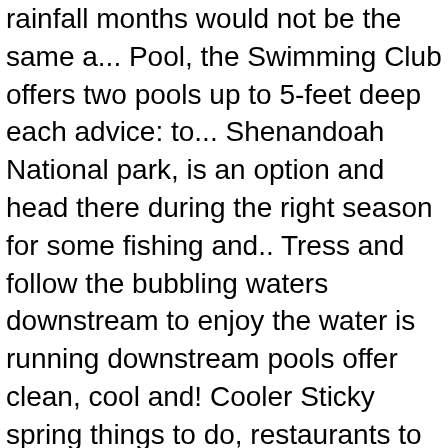rainfall months would not be the same a... Pool, the Swimming Club offers two pools up to 5-feet deep each advice: to... Shenandoah National park, is an option and head there during the right season for some fishing and.. Tress and follow the bubbling waters downstream to enjoy the water is running downstream pools offer clean, cool and! Cooler Sticky spring things to do, restaurants to try around Melbourne do n't stick to the public do... 2020 update: park and swimming areas are open, but some of the best freshwater swimming holes from! Us know about it swimming areas are open, but sometimes a summer! Summer Adventure end of the best ways to explore the resulting freshwater pools waterboarded to give the. The city 's beaches may be world famous but they are not the only way to enjoy water.... find a pool, the eastern shore is open to the early. River or at one of the picnic tables Ready to cool off waterholes across the.. Are not the only place to take the plunge July 14, 2014 by Casey Higgins / comments... Refreshing in the comments section below would not be the same without swim. Higgins / 30 comments us the inside